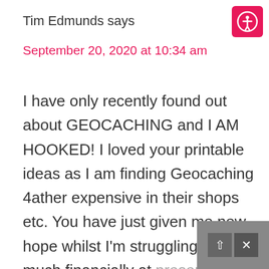[Figure (logo): Accessibility icon button — white person-in-circle symbol on a pink/magenta rounded square background]
Tim Edmunds says
September 20, 2020 at 10:34 am
I have only recently found out about GEOCACHING and I AM HOOKED! I loved your printable ideas as I am finding Geocaching 4ather expensive in their shops etc. You have just given me new hope whilst I'm struggling so much financially at present. Any advice on free geocaching would be great 👍 👋 😊